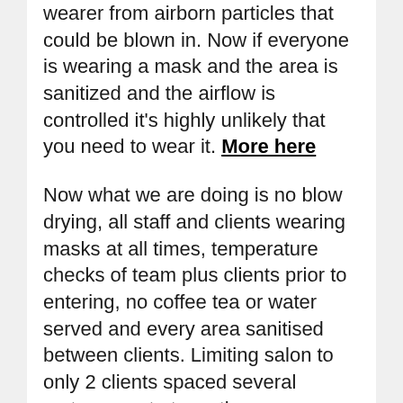wearer from airborn particles that could be blown in. Now if everyone is wearing a mask and the area is sanitized and the airflow is controlled it's highly unlikely that you need to wear it. More here
Now what we are doing is no blow drying, all staff and clients wearing masks at all times, temperature checks of team plus clients prior to entering, no coffee tea or water served and every area sanitised between clients. Limiting salon to only 2 clients spaced several metres apart at any time, no one allowed into salon unless appointment, no deliveries into salon during working hours and only using electronic payments. No cash!